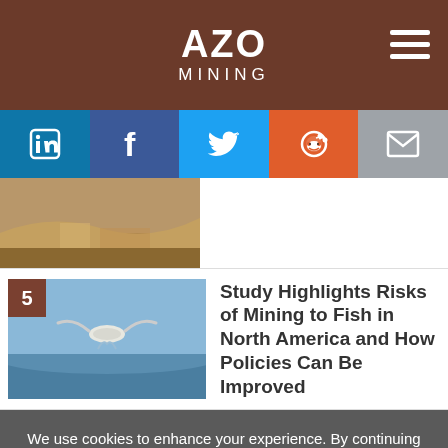AZO MINING
[Figure (logo): AZO Mining logo with white text on brown background and hamburger menu icon]
[Figure (infographic): Social share buttons: LinkedIn, Facebook, Twitter, Reddit, Email]
[Figure (photo): Partially visible thumbnail of desert/open pit mining landscape]
[Figure (photo): Numbered article 5 thumbnail showing a bird over water]
Study Highlights Risks of Mining to Fish in North America and How Policies Can Be Improved
We use cookies to enhance your experience. By continuing to browse this site you agree to our use of cookies. More info.
✓ Accept
Cookie Settings